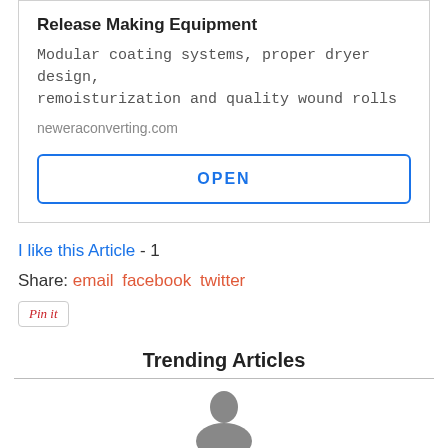Release Making Equipment
Modular coating systems, proper dryer design, remoisturization and quality wound rolls
neweraconverting.com
OPEN
I like this Article - 1
Share: email  facebook  twitter
Pin it
Trending Articles
[Figure (photo): Partial view of a person's head/silhouette at bottom of page]